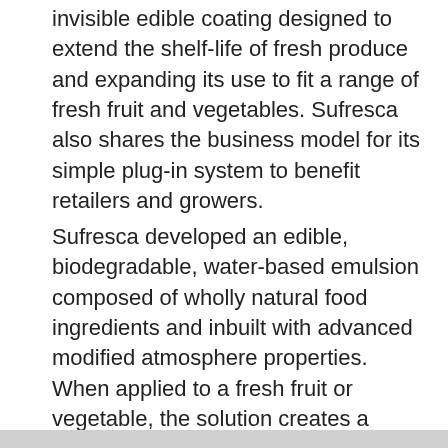invisible edible coating designed to extend the shelf-life of fresh produce and expanding its use to fit a range of fresh fruit and vegetables. Sufresca also shares the business model for its simple plug-in system to benefit retailers and growers.
Sufresca developed an edible, biodegradable, water-based emulsion composed of wholly natural food ingredients and inbuilt with advanced modified atmosphere properties. When applied to a fresh fruit or vegetable, the solution creates a breathable coating. Minute disruptions within the coating acts as a partial barrier that allows for optimal gas exchange. This slows down the post-harvest maturation and ripening processes and subsequent degradation and decay. It also solves the